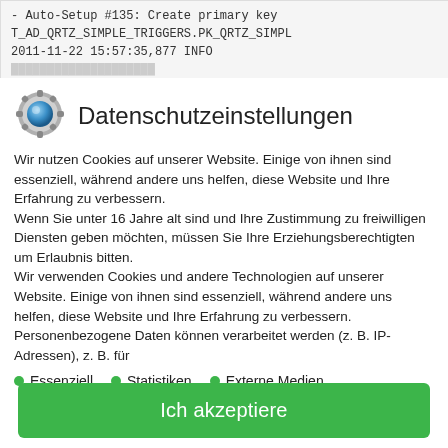[Figure (screenshot): Code/log output showing: - Auto-Setup #135: Create primary key T_AD_QRTZ_SIMPLE_TRIGGERS.PK_QRTZ_SIMPL... 2011-11-22 15:57:35,877 INFO [truncated line]]
[Figure (logo): Circular gear/settings icon with blue center sphere]
Datenschutzeinstellungen
Wir nutzen Cookies auf unserer Website. Einige von ihnen sind essenziell, während andere uns helfen, diese Website und Ihre Erfahrung zu verbessern.
Wenn Sie unter 16 Jahre alt sind und Ihre Zustimmung zu freiwilligen Diensten geben möchten, müssen Sie Ihre Erziehungsberechtigten um Erlaubnis bitten.
Wir verwenden Cookies und andere Technologien auf unserer Website. Einige von ihnen sind essenziell, während andere uns helfen, diese Website und Ihre Erfahrung zu verbessern. Personenbezogene Daten können verarbeitet werden (z. B. IP-Adressen), z. B. für
Essenziell
Statistiken
Externe Medien
Ich akzeptiere